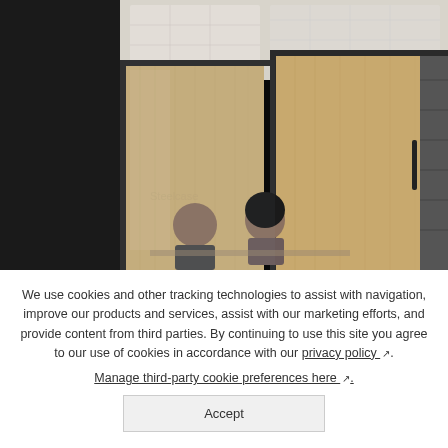[Figure (photo): Two people sitting in a glass-walled meeting room with wooden walls and an office ceiling. A man and a woman appear to be in conversation inside the room.]
We use cookies and other tracking technologies to assist with navigation, improve our products and services, assist with our marketing efforts, and provide content from third parties. By continuing to use this site you agree to our use of cookies in accordance with our privacy policy ↗.
Manage third-party cookie preferences here ↗.
Accept